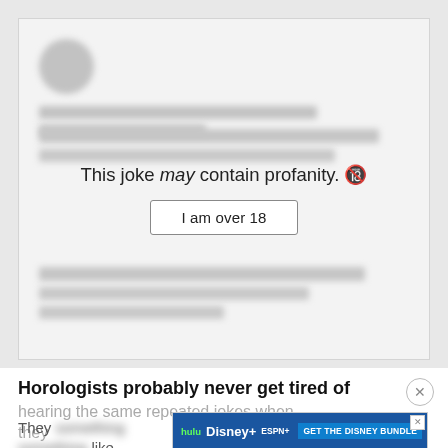[Figure (screenshot): Blurred/censored joke content card with age gate overlay showing 'This joke may contain profanity' message and 'I am over 18' button]
This joke may contain profanity. 🔞
I am over 18
Horologists probably never get tired of hearing the same repeated jokes when they
They clockwork.
[Figure (screenshot): Disney Bundle advertisement banner showing Hulu, Disney+, ESPN+ logos with 'GET THE DISNEY BUNDLE' call to action]